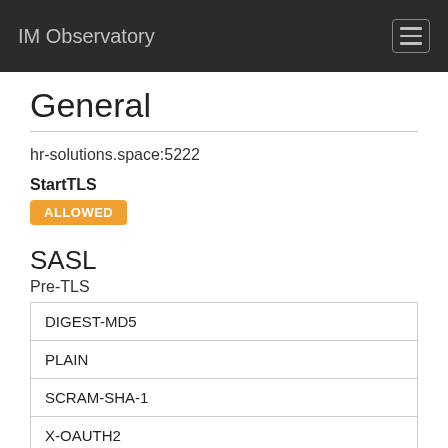IM Observatory
General
hr-solutions.space:5222
StartTLS
ALLOWED
SASL
Pre-TLS
| DIGEST-MD5 |
| PLAIN |
| SCRAM-SHA-1 |
| X-OAUTH2 |
Post-TLS